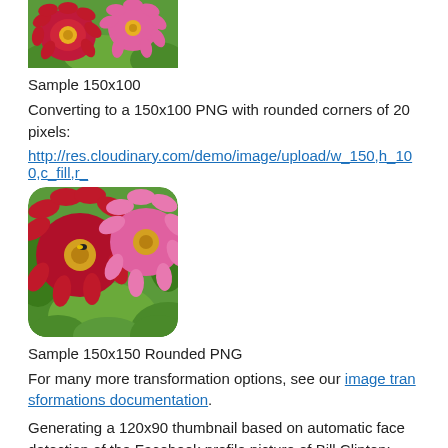[Figure (photo): Photo of red and pink dahlias with green foliage, cropped top view, 150x100 image]
Sample 150x100
Converting to a 150x100 PNG with rounded corners of 20 pixels:
http://res.cloudinary.com/demo/image/upload/w_150,h_100,c_fill,r_...
[Figure (photo): Photo of red and pink dahlias with green foliage, 150x150 with rounded corners]
Sample 150x150 Rounded PNG
For many more transformation options, see our image transformations documentation.
Generating a 120x90 thumbnail based on automatic face detection of the Facebook profile picture of Bill Clinton:
http://res.cloudinary.com/demo/image/facebook/c_thumb,g_face,h...